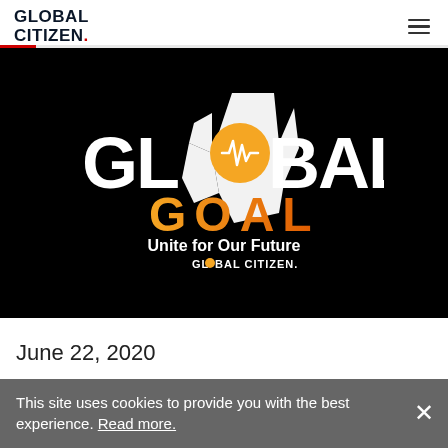GLOBAL CITIZEN. [hamburger menu]
[Figure (logo): GLOBAL GOAL Unite for Our Future – Global Citizen logo on black background. Large white bold text 'GLOBAL' with orange circle containing heartbeat icon as the 'O', and white arrow/hand graphic. Below, orange gradient text 'GOAL'. Below that: white bold text 'Unite for Our Future', and smaller 'GLOBAL CITIZEN.' logo in white.]
June 22, 2020
This site uses cookies to provide you with the best experience. Read more.